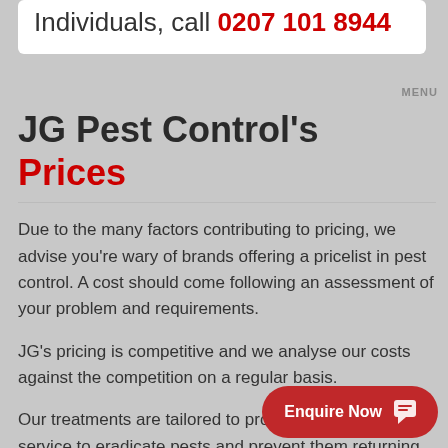Individuals, call 0207 101 8944
MENU
JG Pest Control's Prices
Due to the many factors contributing to pricing, we advise you're wary of brands offering a pricelist in pest control. A cost should come following an assessment of your problem and requirements.
JG's pricing is competitive and we analyse our costs against the competition on a regular basis.
Our treatments are tailored to provide the best possible service to eradicate pests and prevent them returning to your property in future.
All of our services also come with a guarantee.
To find out what it'll cost to deal with your pest problem, simply contact us directly to arrange...